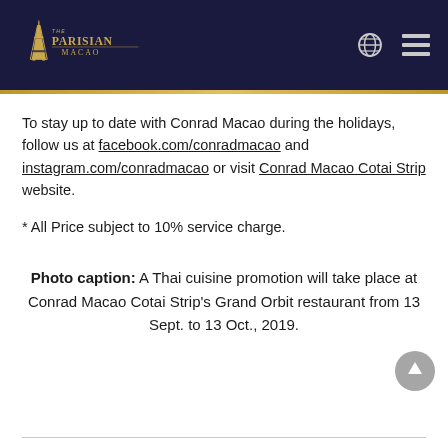[Figure (logo): The Parisian Macao logo — Eiffel Tower icon with gold text on dark navy background, plus globe and hamburger menu icons]
To stay up to date with Conrad Macao during the holidays, follow us at facebook.com/conradmacao and instagram.com/conradmacao or visit Conrad Macao Cotai Strip website.
* All Price subject to 10% service charge.
Photo caption: A Thai cuisine promotion will take place at Conrad Macao Cotai Strip's Grand Orbit restaurant from 13 Sept. to 13 Oct., 2019.